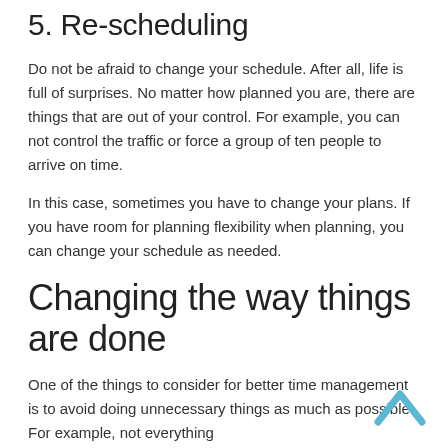5. Re-scheduling
Do not be afraid to change your schedule. After all, life is full of surprises. No matter how planned you are, there are things that are out of your control. For example, you can not control the traffic or force a group of ten people to arrive on time.
In this case, sometimes you have to change your plans. If you have room for planning flexibility when planning, you can change your schedule as needed.
Changing the way things are done
One of the things to consider for better time management is to avoid doing unnecessary things as much as possible. For example, not everything